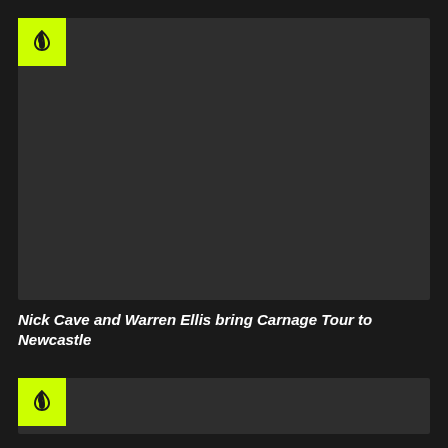[Figure (screenshot): Dark grey card image placeholder with a yellow/lime-green flame logo badge in the top-left corner]
Nick Cave and Warren Ellis bring Carnage Tour to Newcastle
[Figure (screenshot): Second dark grey card image placeholder with a yellow/lime-green flame logo badge in the top-left corner]